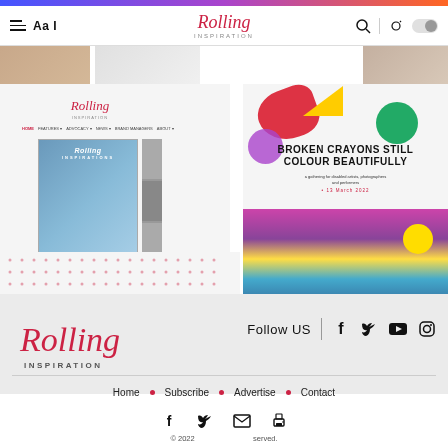[Figure (screenshot): Website screenshot of Rolling Inspiration magazine with navigation bar, magazine cover for Issue 3 2022, and colorful broken crayons advertisement]
[Figure (logo): Rolling Inspiration logo in script/italic red font]
Follow US
Home • Subscribe • Advertise • Contact
© 2022 ... reserved.